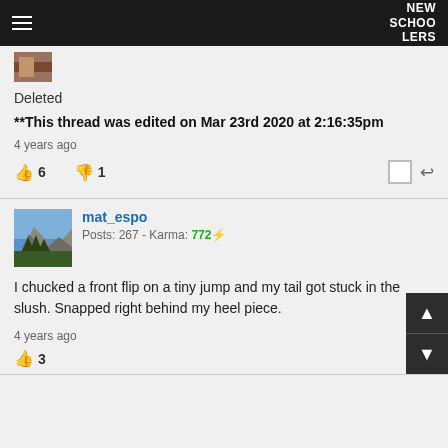NEW SCHOOLERS
[Figure (photo): Small user avatar thumbnail]
Deleted
**This thread was edited on Mar 23rd 2020 at 2:16:35pm
4 years ago
👍 6   👎 1
mat_espo
Posts: 267 - Karma: 772⚡
I chucked a front flip on a tiny jump and my tail got stuck in the slush. Snapped right behind my heel piece.
4 years ago
👍 3